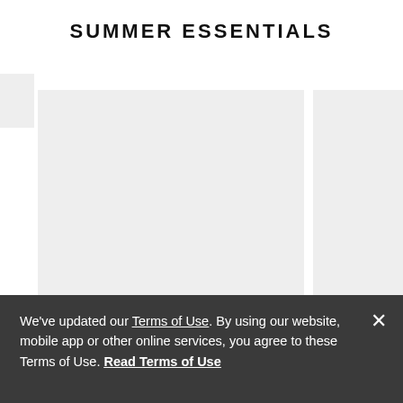SUMMER ESSENTIALS
[Figure (photo): Large light gray placeholder image block for summer essentials product]
[Figure (photo): Smaller light gray placeholder image block on the right side]
We've updated our Terms of Use. By using our website, mobile app or other online services, you agree to these Terms of Use. Read Terms of Use